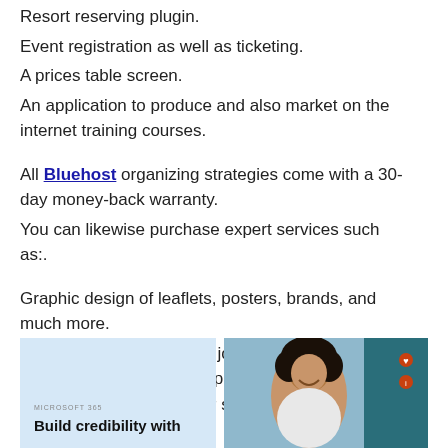Resort reserving plugin.
Event registration as well as ticketing.
A prices table screen.
An application to produce and also market on the internet training courses.
All Bluehost organizing strategies come with a 30-day money-back warranty.
You can likewise purchase expert services such as:.
Graphic design of leaflets, posters, brands, and much more.
Internet site technological job like PayPal integration, blog site set up, including Google Analytics or a map to your site, etc.
Email Creation
[Figure (illustration): Two side-by-side images: left panel with light blue background showing 'MICROSOFT 365' label and bold text 'Build credibility with'; right panel showing a smiling woman with curly hair in an office setting.]